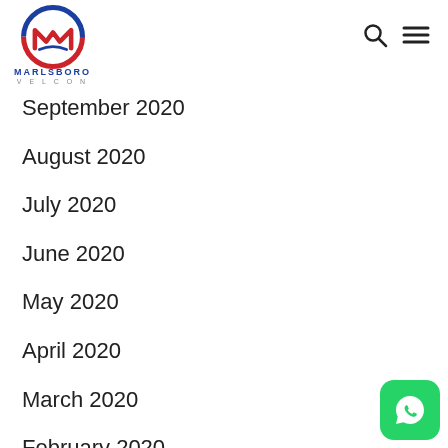Marlsboro Velcon logo with search and menu icons
September 2020
August 2020
July 2020
June 2020
May 2020
April 2020
March 2020
February 2020
[Figure (logo): WhatsApp floating button icon in bottom right corner]